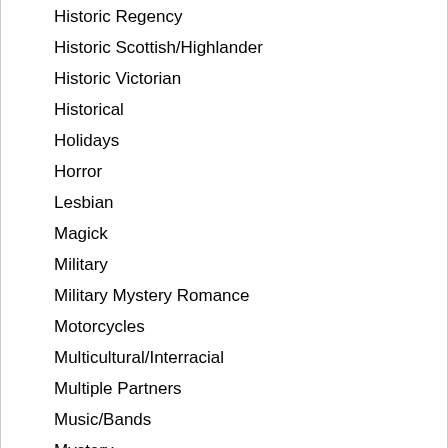Historic Regency
Historic Scottish/Highlander
Historic Victorian
Historical
Holidays
Horror
Lesbian
Magick
Military
Military Mystery Romance
Motorcycles
Multicultural/Interracial
Multiple Partners
Music/Bands
Mystery
New Adult Comedy Romance
New Adult Historic Romance